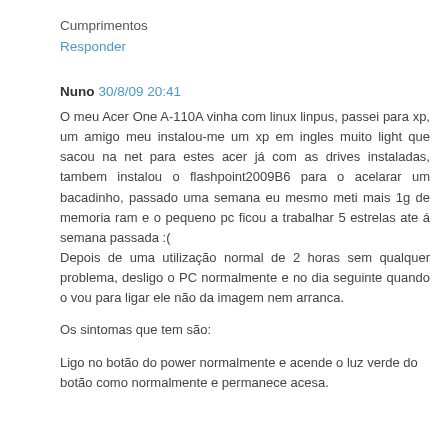Cumprimentos
Responder
Nuno 30/8/09 20:41
O meu Acer One A-110A vinha com linux linpus, passei para xp, um amigo meu instalou-me um xp em ingles muito light que sacou na net para estes acer já com as drives instaladas, tambem instalou o flashpoint2009B6 para o acelarar um bacadinho, passado uma semana eu mesmo meti mais 1g de memoria ram e o pequeno pc ficou a trabalhar 5 estrelas ate á semana passada :(
Depois de uma utilização normal de 2 horas sem qualquer problema, desligo o PC normalmente e no dia seguinte quando o vou para ligar ele não da imagem nem arranca.
Os sintomas que tem são:
Ligo no botão do power normalmente e acende o luz verde do botão como normalmente e permanece acesa.